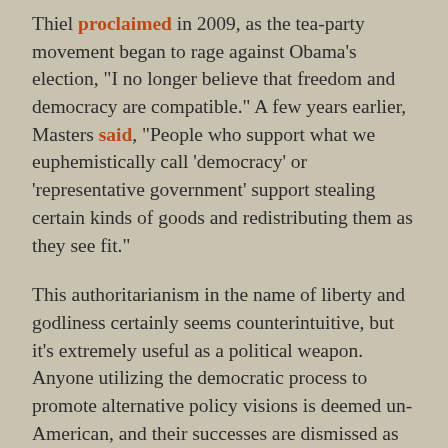Thiel proclaimed in 2009, as the tea-party movement began to rage against Obama's election, “I no longer believe that freedom and democracy are compatible.” A few years earlier, Masters said, “People who support what we euphemistically call ‘democracy’ or ‘representative government’ support stealing certain kinds of goods and redistributing them as they see fit.”
This authoritarianism in the name of liberty and godliness certainly seems counterintuitive, but it’s extremely useful as a political weapon. Anyone utilizing the democratic process to promote alternative policy visions is deemed un-American, and their successes are dismissed as illegitimate. Or as Trump put it in August 2020: “The only way we’re going to lose this election is if the election is rigged.” That could mean fraudulent ballots, or it could mean allowing immigrants who should have never been admitted to America to vote, or